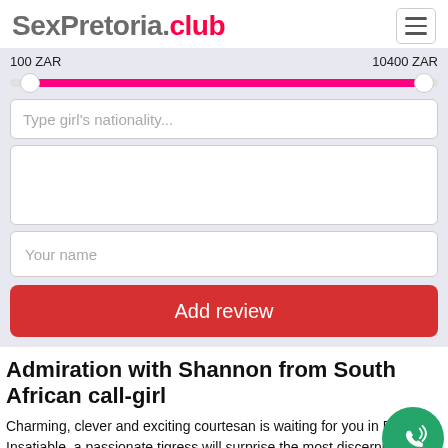SexPretoria.club
100 ZAR   10400 ZAR
Type girl's nationality...
Your name
Add review
Admiration with Shannon from South African call-girl
Charming, clever and exciting courtesan is waiting for you in Pretoria. Insatiable, a passionate tigress will surprise the most discerning clients and will serve on her territory the generous clients.
Sultry mommy Shannon from South African call-girl loves to have fun in bed